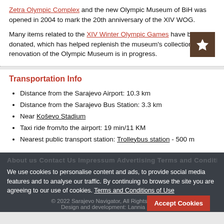Zetra Olympic Complex and the new Olympic Museum of BiH was opened in 2004 to mark the 20th anniversary of the XIV WOG.
Many items related to the XIV Winter Olympic Games have been donated, which has helped replenish the museum's collection, and renovation of the Olympic Museum is in progress.
[Figure (other): Dark brown square button with a white star icon]
Transportation Info
Distance from the Sarajevo Airport: 10.3 km
Distance from the Sarajevo Bus Station: 3.3 km
Near Koševo Stadium
Taxi ride from/to the airport: 19 min/11 KM
Nearest public transport station: Trolleybus station - 500 m
We use cookies to personalise content and ads, to provide social media features and to analyse our traffic. By continuing to browse the site you are agreeing to our use of cookies. Terms and Conditions of Use
© 2022 Sarajevo Navigator, All Rights reserved. Design and development: Lannia Studio